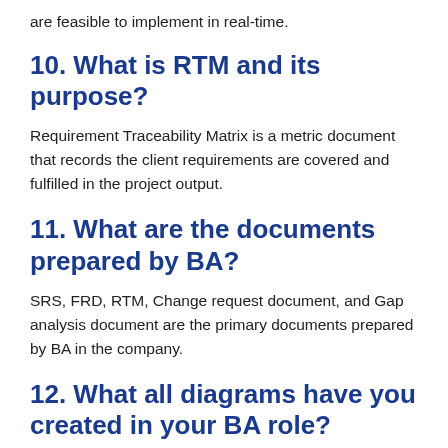are feasible to implement in real-time.
10. What is RTM and its purpose?
Requirement Traceability Matrix is a metric document that records the client requirements are covered and fulfilled in the project output.
11. What are the documents prepared by BA?
SRS, FRD, RTM, Change request document, and Gap analysis document are the primary documents prepared by BA in the company.
12. What all diagrams have you created in your BA role?
Flowcharts, Activity diagrams, and use case diagrams are the diagrams that have been created in the...